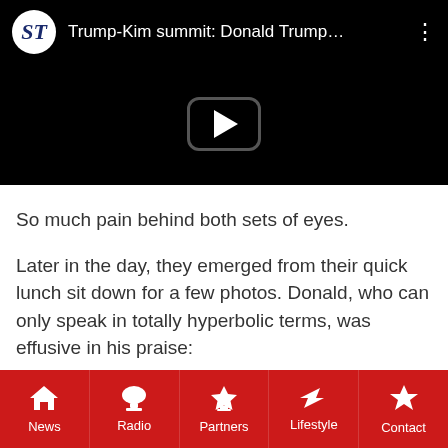[Figure (screenshot): YouTube video embed showing 'Trump-Kim summit: Donald Trump...' with ST (Straits Times) logo, black background, and play button in center]
So much pain behind both sets of eyes.
Later in the day, they emerged from their quick lunch sit down for a few photos. Donald, who can only speak in totally hyperbolic terms, was effusive in his praise:
JUST IN: Trump tells the press the #TrumpKimSummit is “going great. A really
News | Radio | Partners | Lifestyle | Contact